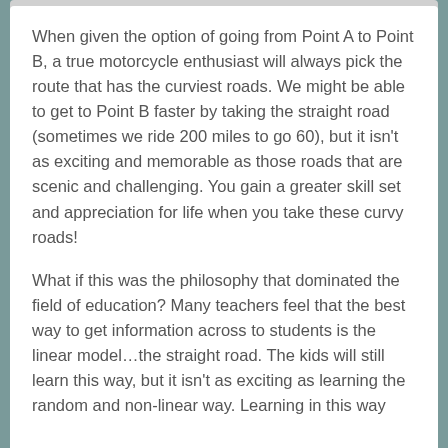When given the option of going from Point A to Point B, a true motorcycle enthusiast will always pick the route that has the curviest roads. We might be able to get to Point B faster by taking the straight road (sometimes we ride 200 miles to go 60), but it isn't as exciting and memorable as those roads that are scenic and challenging. You gain a greater skill set and appreciation for life when you take these curvy roads!
What if this was the philosophy that dominated the field of education? Many teachers feel that the best way to get information across to students is the linear model…the straight road. The kids will still learn this way, but it isn't as exciting as learning the random and non-linear way. Learning in this way